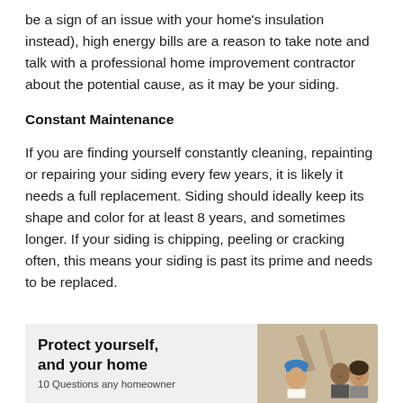be a sign of an issue with your home's insulation instead), high energy bills are a reason to take note and talk with a professional home improvement contractor about the potential cause, as it may be your siding.
Constant Maintenance
If you are finding yourself constantly cleaning, repainting or repairing your siding every few years, it is likely it needs a full replacement. Siding should ideally keep its shape and color for at least 8 years, and sometimes longer. If your siding is chipping, peeling or cracking often, this means your siding is past its prime and needs to be replaced.
[Figure (illustration): Advertisement banner with text 'Protect yourself, and your home' and '10 Questions any homeowner' alongside an image of a construction worker in a blue hard hat and two people smiling]